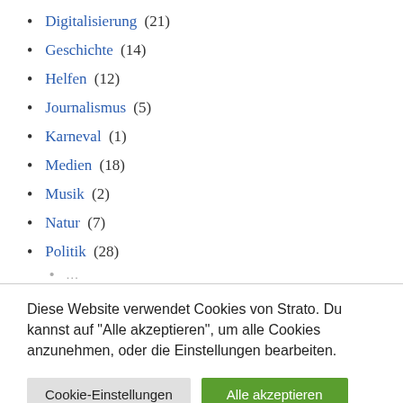Digitalisierung (21)
Geschichte (14)
Helfen (12)
Journalismus (5)
Karneval (1)
Medien (18)
Musik (2)
Natur (7)
Politik (28)
Diese Website verwendet Cookies von Strato. Du kannst auf “Alle akzeptieren”, um alle Cookies anzunehmen, oder die Einstellungen bearbeiten.
Cookie-Einstellungen | Alle akzeptieren